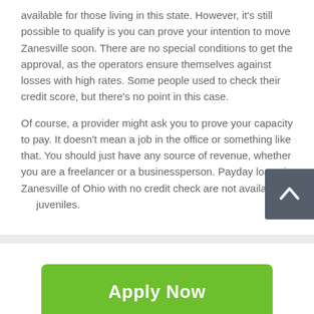available for those living in this state. However, it's still possible to qualify is you can prove your intention to move Zanesville soon. There are no special conditions to get the approval, as the operators ensure themselves against losses with high rates. Some people used to check their credit score, but there's no point in this case.
Of course, a provider might ask you to prove your capacity to pay. It doesn't mean a job in the office or something like that. You should just have any source of revenue, whether you are a freelancer or a businessperson. Payday loans in Zanesville of Ohio with no credit check are not available for juveniles.
[Figure (other): Dark grey scroll-to-top button with white upward arrow icon]
Apply Now
Applying does NOT affect your credit score! No credit check to apply.